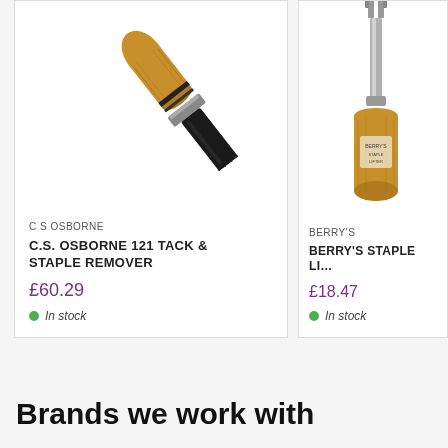[Figure (photo): C.S. Osborne 121 Tack & Staple Remover - a serrated black blade tool with a wooden handle]
C S OSBORNE
C.S. OSBORNE 121 TACK & STAPLE REMOVER
£60.29
In stock
[Figure (photo): Berry's Staple Lifter - a metal tool with wooden handle, partially visible]
BERRY'S
BERRY'S STAPLE LI...
£18.47
In stock
Brands we work with